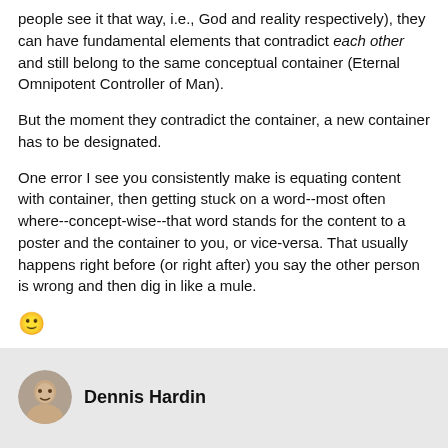people see it that way, i.e., God and reality respectively), they can have fundamental elements that contradict each other and still belong to the same conceptual container (Eternal Omnipotent Controller of Man).
But the moment they contradict the container, a new container has to be designated.
One error I see you consistently make is equating content with container, then getting stuck on a word--most often where--concept-wise--that word stands for the content to a poster and the container to you, or vice-versa. That usually happens right before (or right after) you say the other person is wrong and then dig in like a mule.
[Figure (other): Smiley face emoji]
Did that make sense, or did that confuse you more?
Michael
Dennis Hardin